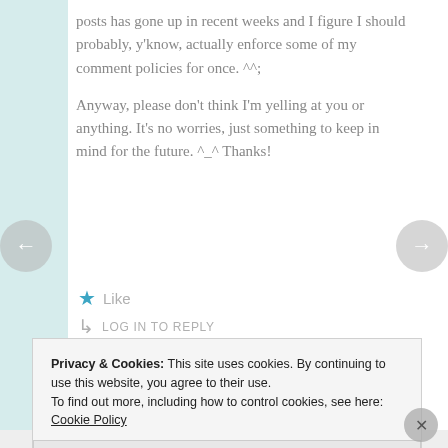posts has gone up in recent weeks and I figure I should probably, y'know, actually enforce some of my comment policies for once. ^^;

Anyway, please don't think I'm yelling at you or anything. It's no worries, just something to keep in mind for the future. ^_^ Thanks!
★ Like
↳ LOG IN TO REPLY
📅 AUGUST 8, 2015 AT 12:50 PM
Privacy & Cookies: This site uses cookies. By continuing to use this website, you agree to their use. To find out more, including how to control cookies, see here: Cookie Policy
Close and accept